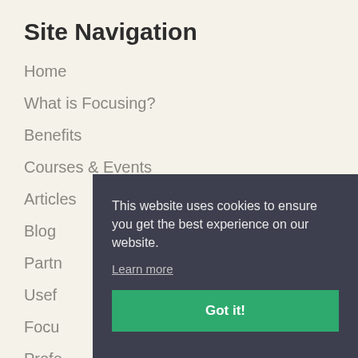Site Navigation
Home
What is Focusing?
Benefits
Courses & Events
Articles
Blog
Partn…
Usef…
Focu…
Profe…
Abou…
Diver…
This website uses cookies to ensure you get the best experience on our website.
Learn more
Got it!